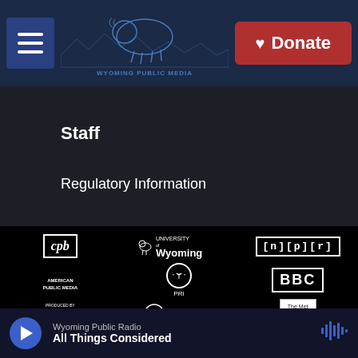[Figure (logo): Wyoming Public Media website header with navigation menu button, Wyoming Public Media bison logo, and red Donate button]
Staff
Regulatory Information
[Figure (logo): Partner logos grid: CPB, University of Wyoming, NPR, American Public Media, PRI, BBC, Pubic Media logos, WyomingPBS, The Metropolitan Opera, Buffalo Bill Center, PBS/DD logos, Wyoming Cultural]
Wyoming Public Radio
All Things Considered